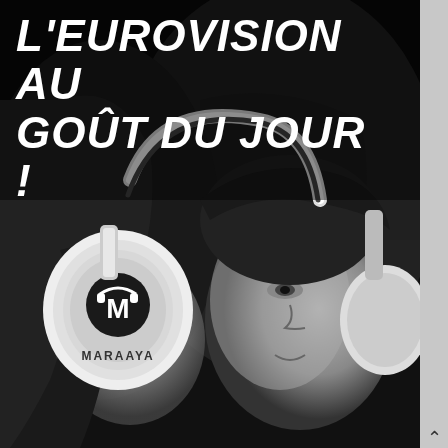[Figure (photo): Black and white promotional photo of two people (a woman and a man) wearing white Maraaya branded headphones. The woman is in the foreground left wearing the headphones with the Maraaya logo visible on the ear cup, the man is in the background right also wearing headphones. Text overlay at top reads L'EUROVISION AU GOÛT DU JOUR! in large white italic bold font.]
L'EUROVISION AU GOÛT DU JOUR !